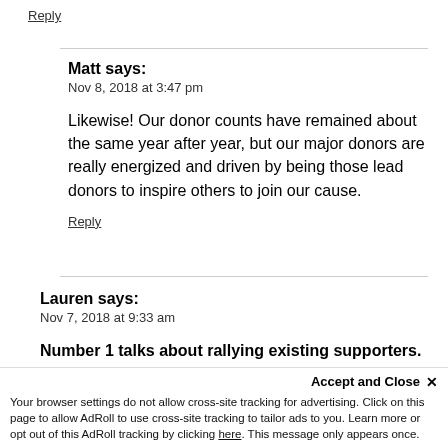Reply
Matt says:
Nov 8, 2018 at 3:47 pm
Likewise! Our donor counts have remained about the same year after year, but our major donors are really energized and driven by being those lead donors to inspire others to join our cause.
Reply
Lauren says:
Nov 7, 2018 at 9:33 am
Number 1 talks about rallying existing supporters.
We're using thunderclap for the first time this...
Accept and Close ×
Your browser settings do not allow cross-site tracking for advertising. Click on this page to allow AdRoll to use cross-site tracking to tailor ads to you. Learn more or opt out of this AdRoll tracking by clicking here. This message only appears once.